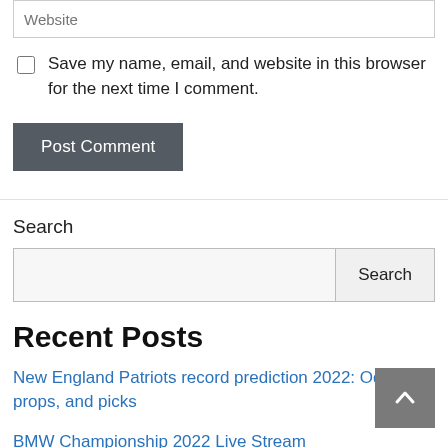Website
Save my name, email, and website in this browser for the next time I comment.
Post Comment
Search
Search
Recent Posts
New England Patriots record prediction 2022: Odds, props, and picks
BMW Championship 2022 Live Stream